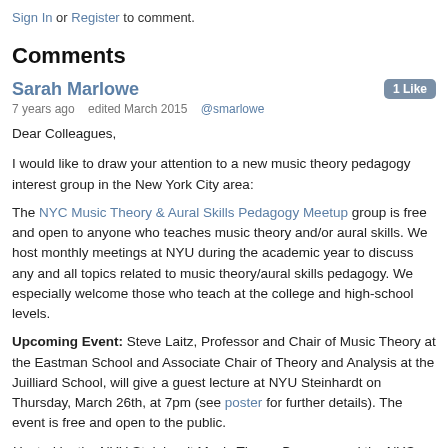Sign In or Register to comment.
Comments
Sarah Marlowe  1 Like
7 years ago   edited March 2015   @smarlowe
Dear Colleagues,
I would like to draw your attention to a new music theory pedagogy interest group in the New York City area:
The NYC Music Theory & Aural Skills Pedagogy Meetup group is free and open to anyone who teaches music theory and/or aural skills. We host monthly meetings at NYU during the academic year to discuss any and all topics related to music theory/aural skills pedagogy. We especially welcome those who teach at the college and high-school levels.
Upcoming Event: Steve Laitz, Professor and Chair of Music Theory at the Eastman School and Associate Chair of Theory and Analysis at the Juilliard School, will give a guest lecture at NYU Steinhardt on Thursday, March 26th, at 7pm (see poster for further details). The event is free and open to the public.
Hosted by the NYU Steinhardt Music Theory Program and the NYC Music